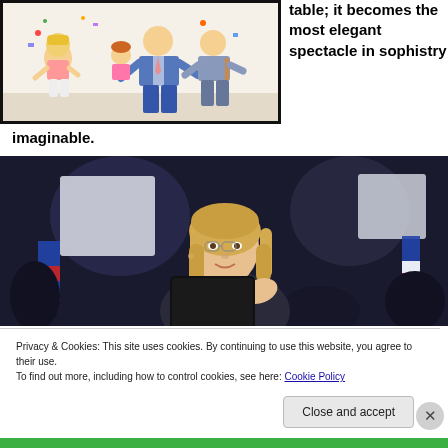[Figure (illustration): Colorful cartoon illustration showing a group of animated people in a chaotic scene, with children and adults, bordered by a thick black frame.]
table; it becomes the most elegant spectacle in sophistry imaginable.
[Figure (photo): Photograph of a blonde woman speaking or gesturing at what appears to be a political event, with blurred signs and flags in the background.]
Privacy & Cookies: This site uses cookies. By continuing to use this website, you agree to their use.
To find out more, including how to control cookies, see here: Cookie Policy
Close and accept